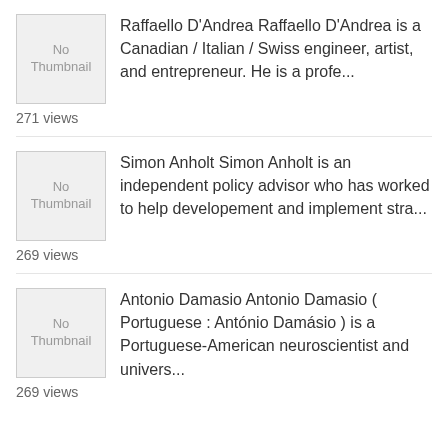Raffaello D'Andrea Raffaello D'Andrea is a Canadian / Italian / Swiss engineer, artist, and entrepreneur. He is a profe... 271 views
Simon Anholt Simon Anholt is an independent policy advisor who has worked to help developement and implement stra... 269 views
Antonio Damasio Antonio Damasio ( Portuguese : António Damásio ) is a Portuguese-American neuroscientist and univers... 269 views